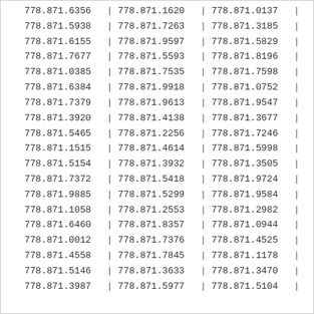| 778.871.6356 | | | 778.871.1620 | | | 778.871.0137 | | |
| 778.871.5938 | | | 778.871.7263 | | | 778.871.3185 | | |
| 778.871.6155 | | | 778.871.9597 | | | 778.871.5829 | | |
| 778.871.7677 | | | 778.871.5593 | | | 778.871.8196 | | |
| 778.871.0385 | | | 778.871.7535 | | | 778.871.7598 | | |
| 778.871.6384 | | | 778.871.9918 | | | 778.871.0752 | | |
| 778.871.7379 | | | 778.871.9613 | | | 778.871.9547 | | |
| 778.871.3920 | | | 778.871.4138 | | | 778.871.3677 | | |
| 778.871.5465 | | | 778.871.2256 | | | 778.871.7246 | | |
| 778.871.1515 | | | 778.871.4614 | | | 778.871.5998 | | |
| 778.871.5154 | | | 778.871.3932 | | | 778.871.3505 | | |
| 778.871.7372 | | | 778.871.5418 | | | 778.871.9724 | | |
| 778.871.9885 | | | 778.871.5299 | | | 778.871.9584 | | |
| 778.871.1058 | | | 778.871.2553 | | | 778.871.2982 | | |
| 778.871.6460 | | | 778.871.8357 | | | 778.871.0944 | | |
| 778.871.0012 | | | 778.871.7376 | | | 778.871.4525 | | |
| 778.871.4558 | | | 778.871.7845 | | | 778.871.1178 | | |
| 778.871.5146 | | | 778.871.3633 | | | 778.871.3470 | | |
| 778.871.3987 | | | 778.871.5977 | | | 778.871.5104 | | |